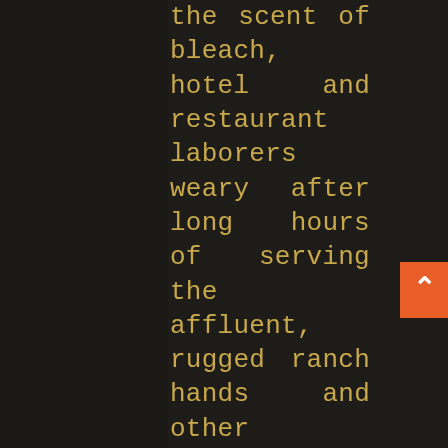the scent of bleach, hotel and restaurant laborers weary after long hours of serving the affluent, rugged ranch hands and other workers from outlying neighborhoods at home in this tavern where they could kick back and drink beer among their fellows who had never been in a movie or made a fortune or read Plato or adored Mozart or worried about global markets or philosophized about human rights. These were earthy people